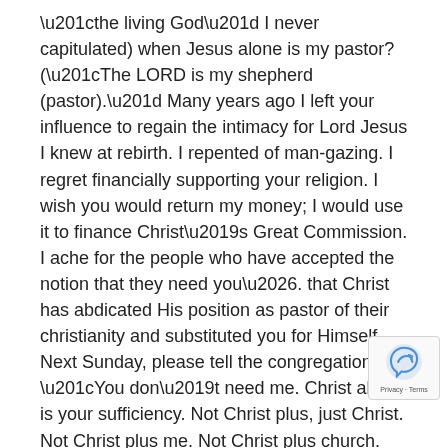“the living God” I never capitulated) when Jesus alone is my pastor? (“The LORD is my shepherd (pastor).” Many years ago I left your influence to regain the intimacy for Lord Jesus I knew at rebirth. I repented of man-gazing. I regret financially supporting your religion. I wish you would return my money; I would use it to finance Christ’s Great Commission. I ache for the people who have accepted the notion that they need you…. that Christ has abdicated His position as pastor of their christianity and substituted you for Himself. Next Sunday, please tell the congregation, “You don’t need me. Christ alone is your sufficiency. Not Christ plus, just Christ. Not Christ plus me. Not Christ plus church. Not Christ plus evangelicalism. Adding someone or something to Christ weakens your relationship. Which limits your fruit. Which robs you of eternal rewards. Repent of man- gazing – man-gazing, so dangerously close to man-worship – and become what you once were, a Christ-gazer.”

I wish you well,